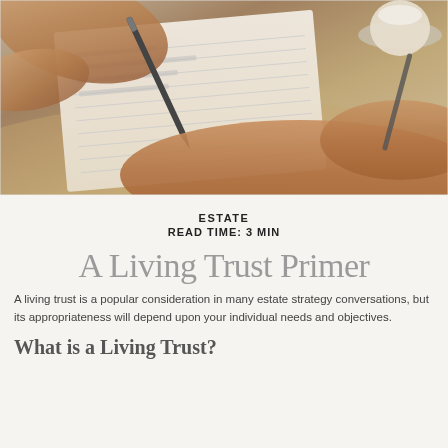[Figure (photo): Close-up photo of hands writing on paper with a pen, with a cup and saucer visible in the upper right corner]
ESTATE
READ TIME: 3 MIN
A Living Trust Primer
A living trust is a popular consideration in many estate strategy conversations, but its appropriateness will depend upon your individual needs and objectives.
What is a Living Trust?